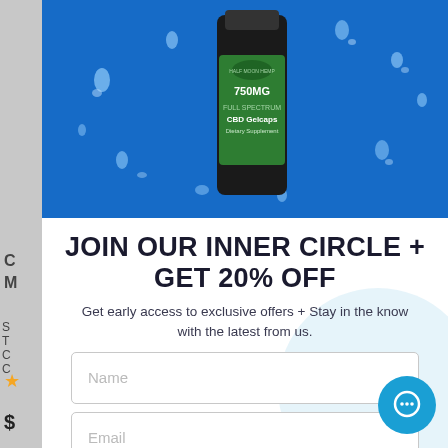[Figure (photo): Product photo of a 750MG CBD Gelcaps bottle from Half Moon Hemp on a blue background with water droplets]
JOIN OUR INNER CIRCLE + GET 20% OFF
Get early access to exclusive offers + Stay in the know with the latest from us.
Name (input field placeholder)
Email (input field placeholder)
JOIN THE LIST